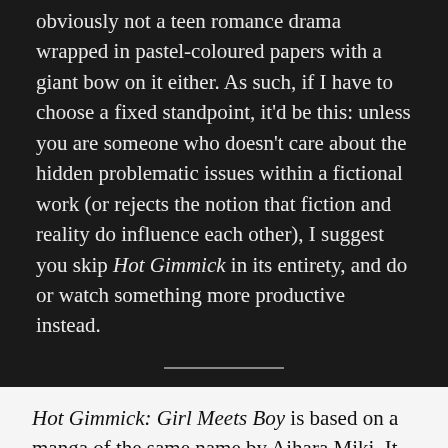obviously not a teen romance drama wrapped in pastel-coloured papers with a giant bow on it either. As such, if I have to choose a fixed standpoint, it'd be this: unless you are someone who doesn't care about the hidden problematic issues within a fictional work (or rejects the notion that fiction and reality do influence each other), I suggest you skip Hot Gimmick in its entirety, and do or watch something more productive instead.
Hot Gimmick: Girl Meets Boy is based on a manga of the same name by Aihara Miki. It started its serialization in December '00, and